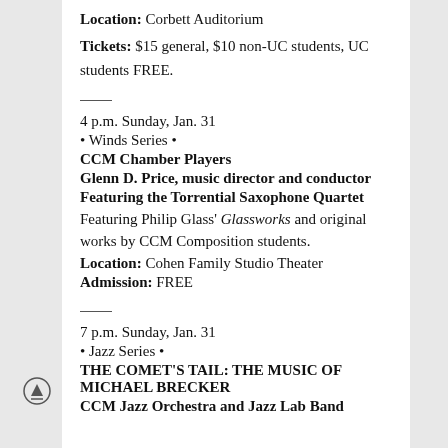Location: Corbett Auditorium
Tickets: $15 general, $10 non-UC students, UC students FREE.
4 p.m. Sunday, Jan. 31
• Winds Series •
CCM Chamber Players
Glenn D. Price, music director and conductor
Featuring the Torrential Saxophone Quartet
Featuring Philip Glass' Glassworks and original works by CCM Composition students.
Location: Cohen Family Studio Theater
Admission: FREE
7 p.m. Sunday, Jan. 31
• Jazz Series •
THE COMET'S TAIL: THE MUSIC OF MICHAEL BRECKER
CCM Jazz Orchestra and Jazz Lab Band